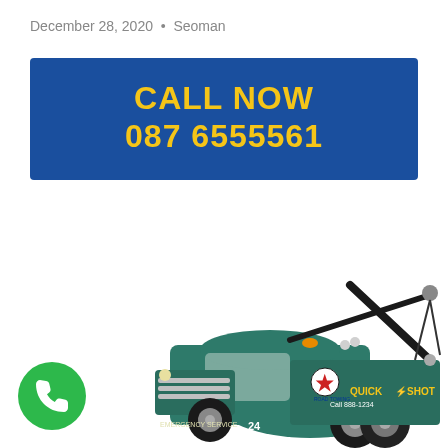December 28, 2020  •  Seoman
[Figure (infographic): Blue banner with yellow bold text reading CALL NOW 087 6555561]
[Figure (photo): Green vintage tow truck toy model with Road Towing Emergency Service and Quick Shot branding, featuring a crane/boom arm with cables]
[Figure (other): Green circular phone call button icon in bottom-left corner]